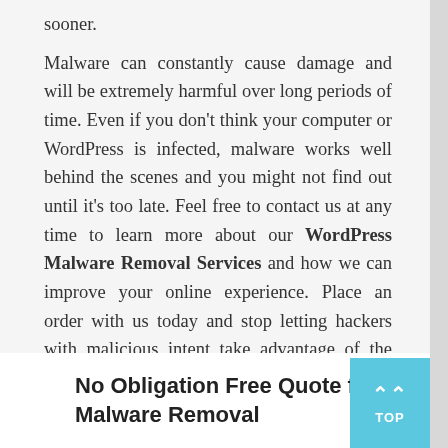sooner.
Malware can constantly cause damage and will be extremely harmful over long periods of time. Even if you don't think your computer or WordPress is infected, malware works well behind the scenes and you might not find out until it's too late. Feel free to contact us at any time to learn more about our WordPress Malware Removal Services and how we can improve your online experience. Place an order with us today and stop letting hackers with malicious intent take advantage of the services you provide.
No Obligation Free Quote for Malware Removal